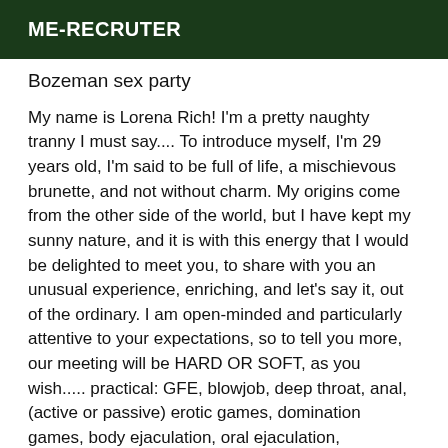ME-RECRUTER
Bozeman sex party
My name is Lorena Rich! I'm a pretty naughty tranny I must say.... To introduce myself, I'm 29 years old, I'm said to be full of life, a mischievous brunette, and not without charm. My origins come from the other side of the world, but I have kept my sunny nature, and it is with this energy that I would be delighted to meet you, to share with you an unusual experience, enriching, and let's say it, out of the ordinary. I am open-minded and particularly attentive to your expectations, so to tell you more, our meeting will be HARD OR SOFT, as you wish..... practical: GFE, blowjob, deep throat, anal, (active or passive) erotic games, domination games, body ejaculation, oral ejaculation, analungus....,* The most: Height: 1.77 meters Sex: 19cm I also wanted to tell you gentlemen, that I attach great importance to my personal hygiene. Kisses